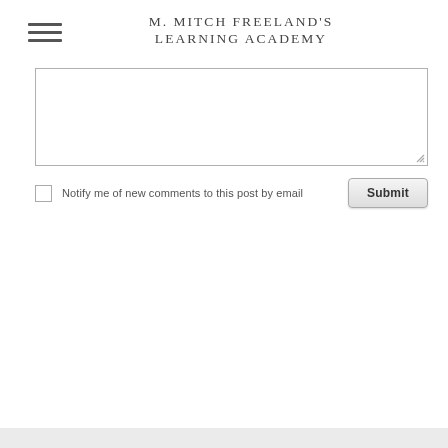M. MITCH FREELAND'S LEARNING ACADEMY
[Figure (screenshot): Comment textarea input box with resize handle in bottom-right corner]
Notify me of new comments to this post by email
Submit